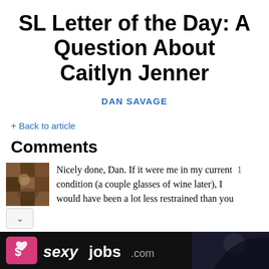SL Letter of the Day: A Question About Caitlyn Jenner
DAN SAVAGE
Back to article
Comments
Nicely done, Dan. If it were me in my current 1 condition (a couple glasses of wine later), I would have been a lot less restrained than you
[Figure (photo): Small avatar photo of commenter, brownish textured image]
[Figure (infographic): Advertisement banner for sexyjobs.com with pink heart logo and model silhouette on black background]